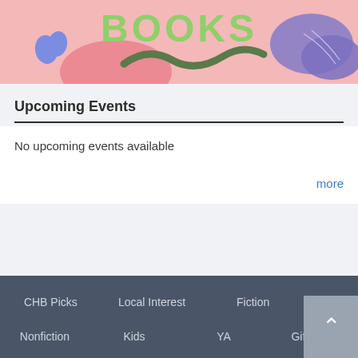[Figure (illustration): Colorful banner with pink background, green 'BOOKS' text, dark green tilde/wave symbol, blue flower shape on left, purple/blue leaf shapes on right]
Upcoming Events
No upcoming events available
more
CHB Picks   Local Interest   Fiction   Nonfiction   Kids   YA   Gifts, etc